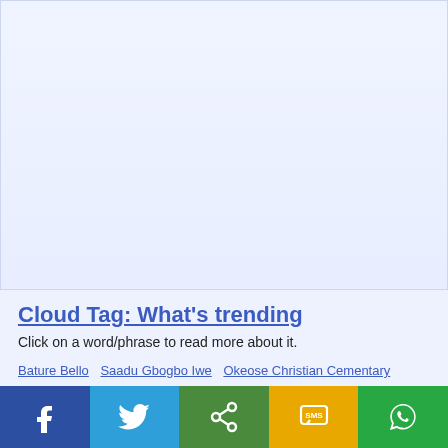[Figure (other): Advertisement or blank content area with light blue/lavender background]
Cloud Tag: What's trending
Click on a word/phrase to read more about it.
Bature Bello   Saadu Gbogbo Iwe   Okeose Christian Cementary   Kwabes Benin Republic   Alfa Modibo Belgore   School Of Nursing   Alaro Ridhwanullah Al-Ilory   Toyin Saraki   Ayo Adeyemi   State Bureau Of Internal Revenue   Saidu Yaro Musa   Ilorin West/Asa Federal Constituency   Innocent
[Figure (other): Social share bar with Facebook, Twitter, Share, SMS, and WhatsApp buttons]